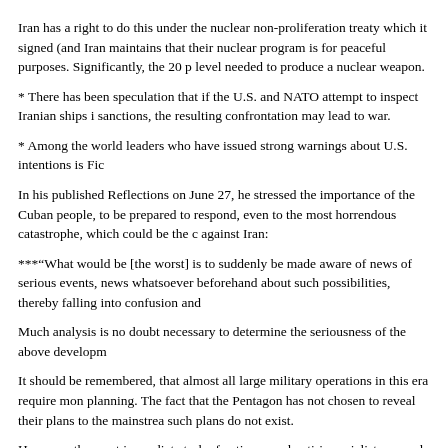Iran has a right to do this under the nuclear non-proliferation treaty which it signed (and Iran maintains that their nuclear program is for peaceful purposes. Significantly, the 20 p level needed to produce a nuclear weapon.
* There has been speculation that if the U.S. and NATO attempt to inspect Iranian ships i sanctions, the resulting confrontation may lead to war.
* Among the world leaders who have issued strong warnings about U.S. intentions is Fic
In his published Reflections on June 27, he stressed the importance of the Cuban people, to be prepared to respond, even to the most horrendous catastrophe, which could be the c against Iran:
***“What would be [the worst] is to suddenly be made aware of news of serious events, news whatsoever beforehand about such possibilities, thereby falling into confusion and
Much analysis is no doubt necessary to determine the seriousness of the above developm
It should be remembered, that almost all large military operations in this era require mon planning. The fact that the Pentagon has not chosen to reveal their plans to the mainstrea such plans do not exist.
However, the most immediate task of anti-war and anti-imperialists around the world is t provocations emanating from Washington and prepare to resist any and all attempts to m
Petition - http://www.stopwaroniran.org/petition.shtml